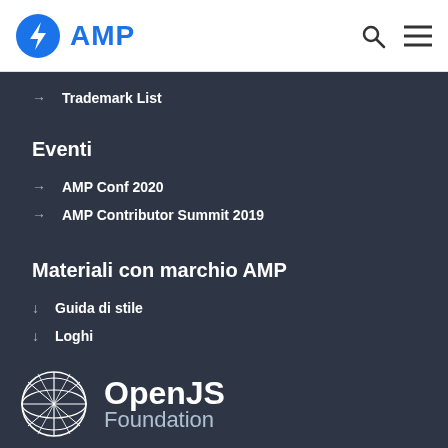AMP
Trademark List
Eventi
AMP Conf 2020
AMP Contributor Summit 2019
Materiali con marchio AMP
Guida di stile
Loghi
[Figure (logo): OpenJS Foundation logo with geometric sphere icon and text 'OpenJS Foundation']